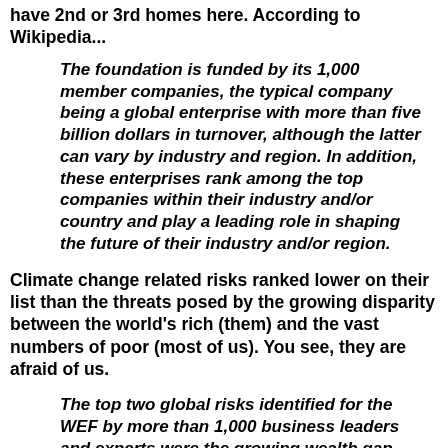have 2nd or 3rd homes here. According to Wikipedia...
The foundation is funded by its 1,000 member companies, the typical company being a global enterprise with more than five billion dollars in turnover, although the latter can vary by industry and region. In addition, these enterprises rank among the top companies within their industry and/or country and play a leading role in shaping the future of their industry and/or region.
Climate change related risks ranked lower on their list than the threats posed by the growing disparity between the world's rich (them) and the vast numbers of poor (most of us). You see, they are afraid of us.
The top two global risks identified for the WEF by more than 1,000 business leaders and experts were the growing wealth gap between rich and poor and a major financial economic crisis. But the next three on the list of 50 were environmental, including climate